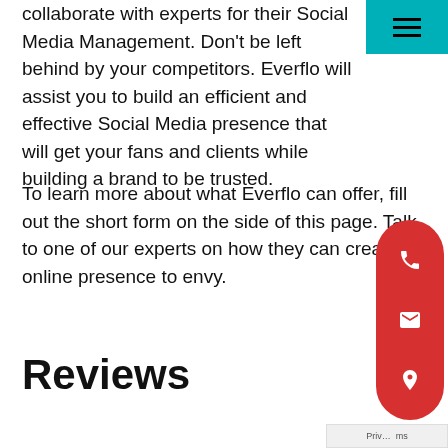collaborate with experts for their Social Media Management. Don't be left behind by your competitors. Everflo will assist you to build an efficient and effective Social Media presence that will get your fans and clients while building a brand to be trusted.
To learn more about what Everflo can offer, fill out the short form on the side of this page. Talk to one of our experts on how they can create an online presence to envy.
Reviews